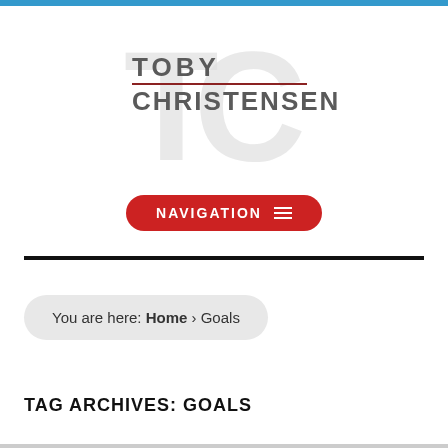[Figure (logo): Toby Christensen logo with large gray TC letters in background and bold text TOBY CHRISTENSEN with a dark red divider line]
[Figure (other): Red pill-shaped NAVIGATION button with hamburger menu icon]
You are here: Home › Goals
TAG ARCHIVES: GOALS